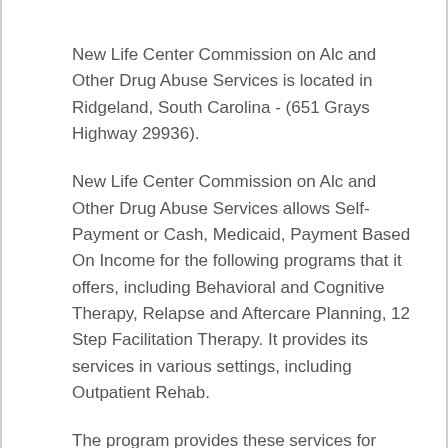New Life Center Commission on Alc and Other Drug Abuse Services is located in Ridgeland, South Carolina - (651 Grays Highway 29936).
New Life Center Commission on Alc and Other Drug Abuse Services allows Self-Payment or Cash, Medicaid, Payment Based On Income for the following programs that it offers, including Behavioral and Cognitive Therapy, Relapse and Aftercare Planning, 12 Step Facilitation Therapy. It provides its services in various settings, including Outpatient Rehab.
The program provides these services for these care types: Drug and Alcohol